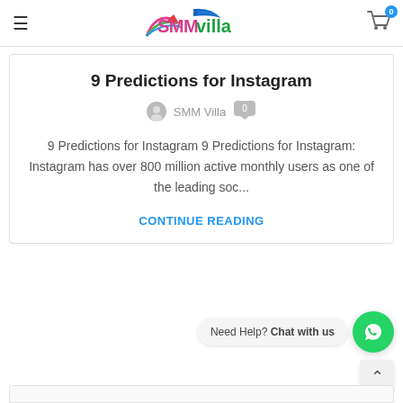SMMvilla header with hamburger menu and cart icon
9 Predictions for Instagram
SMM Villa  0
9 Predictions for Instagram 9 Predictions for Instagram: Instagram has over 800 million active monthly users as one of the leading soc...
CONTINUE READING
[Figure (other): WhatsApp chat widget with 'Need Help? Chat with us' message bubble and green WhatsApp icon button]
↑ scroll to top arrow